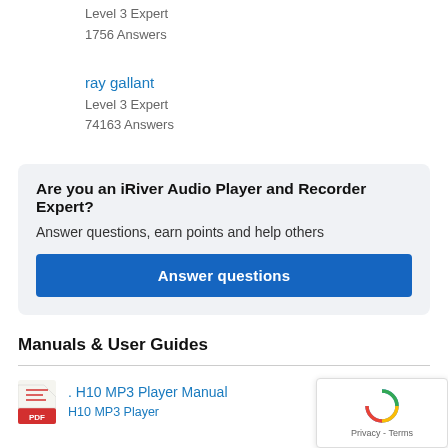Level 3 Expert
1756 Answers
ray gallant
Level 3 Expert
74163 Answers
Are you an iRiver Audio Player and Recorder Expert?
Answer questions, earn points and help others
[Answer questions button]
Manuals & User Guides
. H10 MP3 Player Manual
H10 MP3 Player